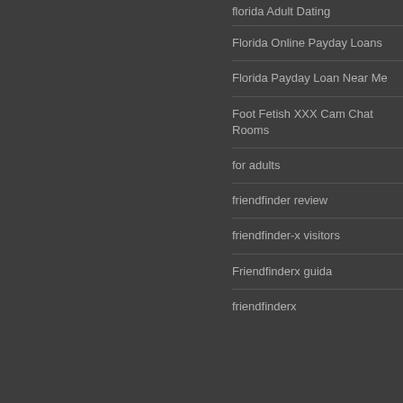Florida Online Payday Loans
Florida Payday Loan Near Me
Foot Fetish XXX Cam Chat Rooms
for adults
friendfinder review
friendfinder-x visitors
Friendfinderx guida
friendfinderx